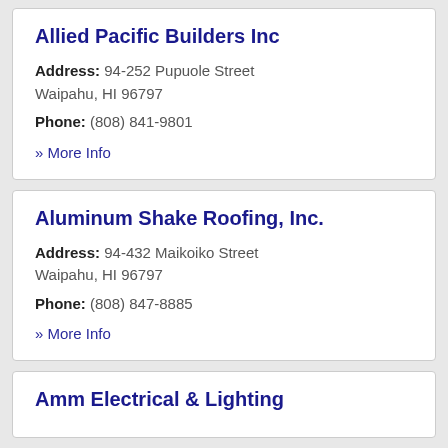Allied Pacific Builders Inc
Address: 94-252 Pupuole Street Waipahu, HI 96797
Phone: (808) 841-9801
» More Info
Aluminum Shake Roofing, Inc.
Address: 94-432 Maikoiko Street Waipahu, HI 96797
Phone: (808) 847-8885
» More Info
Amm Electrical & Lighting